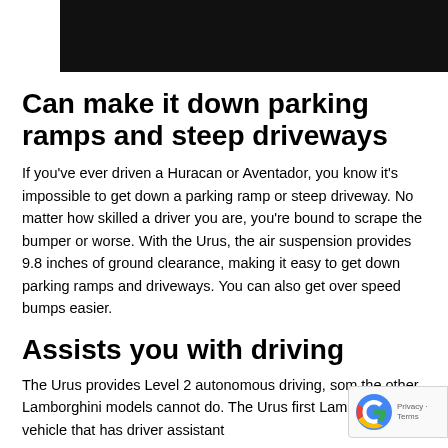[Figure (photo): Dark/black image at the top of the page, partially visible]
Can make it down parking ramps and steep driveways
If you've ever driven a Huracan or Aventador, you know it's impossible to get down a parking ramp or steep driveway. No matter how skilled a driver you are, you're bound to scrape the bumper or worse. With the Urus, the air suspension provides 9.8 inches of ground clearance, making it easy to get down parking ramps and driveways. You can also get over speed bumps easier.
Assists you with driving
The Urus provides Level 2 autonomous driving, som the other Lamborghini models cannot do. The Urus first Lamborghini vehicle that has driver assistant